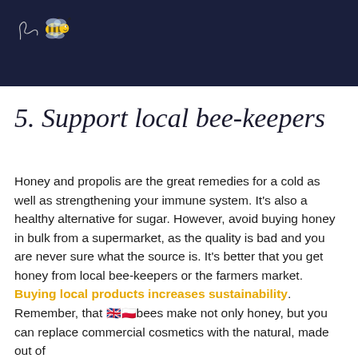[Figure (logo): Dark navy header bar with a cartoon bee and a curly line/string logo in top left corner]
[partially visible cut-off text from previous page]
5. Support local bee-keepers
Honey and propolis are the great remedies for a cold as well as strengthening your immune system. It's also a healthy alternative for sugar. However, avoid buying honey in bulk from a supermarket, as the quality is bad and you are never sure what the source is. It's better that you get honey from local bee-keepers or the farmers market. Buying local products increases sustainability. Remember, that bees make not only honey, but you can replace commercial cosmetics with the natural, made out of